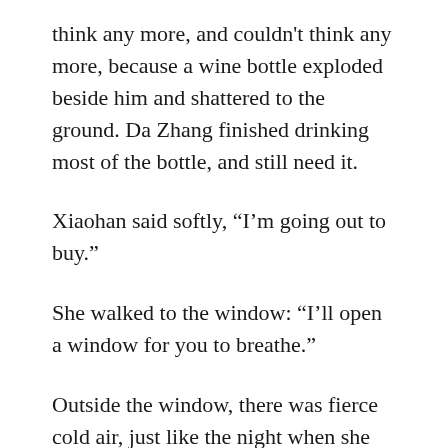think any more, and couldn't think any more, because a wine bottle exploded beside him and shattered to the ground. Da Zhang finished drinking most of the bottle, and still need it.
Xiaohan said softly, “I’m going out to buy.”
She walked to the window: “I’ll open a window for you to breathe.”
Outside the window, there was fierce cold air, just like the night when she and Da Zhang first met.
Closing the door, she kept holding the key tightly. The elevator came, but she didn’t get in. Suddenly, in a decisive gesture, she threw the key out of the corridor window, just like when she threw her cell phone. In the mobile phone, there were actually many happy photos of